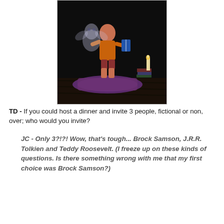[Figure (illustration): Dark oil painting depicting a child kneeling on a colorful rug, holding a blue book, with a translucent ghost-like figure hovering nearby. A lit candle and stacked books are visible to the right. The background is very dark.]
TD - If you could host a dinner and invite 3 people, fictional or non, over; who would you invite?
JC - Only 3?!?! Wow, that's tough... Brock Samson, J.R.R. Tolkien and Teddy Roosevelt. (I freeze up on these kinds of questions. Is there something wrong with me that my first choice was Brock Samson?)